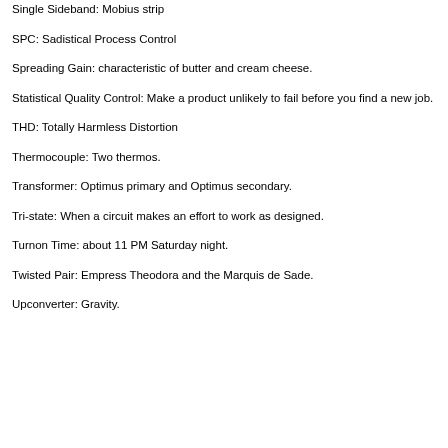Single Sideband: Mobius strip
SPC: Sadistical Process Control
Spreading Gain: characteristic of butter and cream cheese.
Statistical Quality Control: Make a product unlikely to fail before you find a new job.
THD: Totally Harmless Distortion
Thermocouple: Two thermos.
Transformer: Optimus primary and Optimus secondary.
Tri-state: When a circuit makes an effort to work as designed.
Turnon Time: about 11 PM Saturday night.
Twisted Pair: Empress Theodora and the Marquis de Sade.
Upconverter: Gravity.